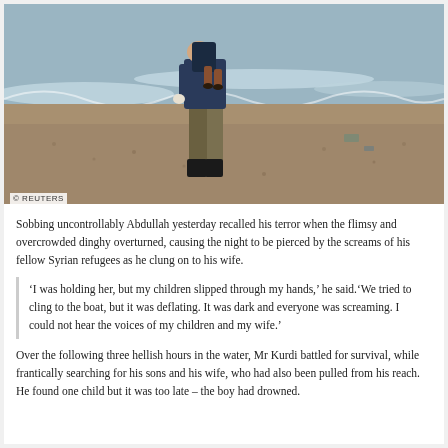[Figure (photo): A person carrying a small child along a beach shoreline. The person is wearing dark clothing and boots, walking on a pebbly beach with ocean waves visible in the background. A Reuters copyright watermark is visible in the lower left corner of the image.]
Sobbing uncontrollably Abdullah yesterday recalled his terror when the flimsy and overcrowded dinghy overturned, causing the night to be pierced by the screams of his fellow Syrian refugees as he clung on to his wife.
‘I was holding her, but my children slipped through my hands,’ he said.‘We tried to cling to the boat, but it was deflating. It was dark and everyone was screaming. I could not hear the voices of my children and my wife.’
Over the following three hellish hours in the water, Mr Kurdi battled for survival, while frantically searching for his sons and his wife, who had also been pulled from his reach. He found one child but it was too late – the boy had drowned.